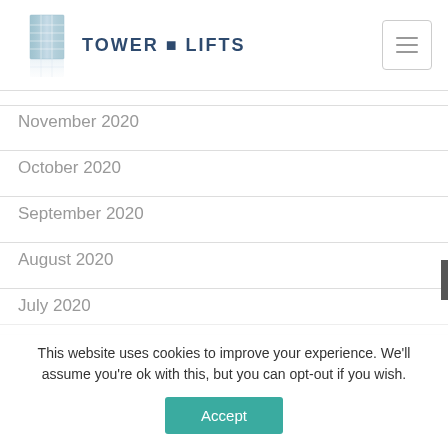Tower Lifts
November 2020
October 2020
September 2020
August 2020
July 2020
This website uses cookies to improve your experience. We'll assume you're ok with this, but you can opt-out if you wish.